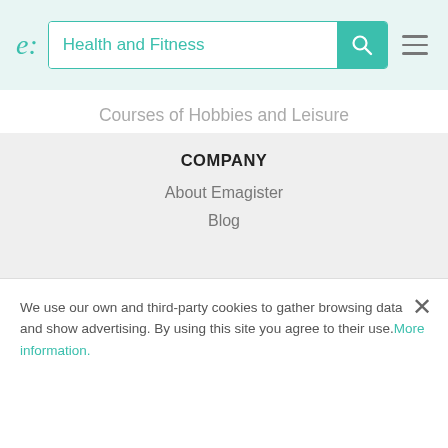Health and Fitness — Emagister search header
Courses of Hobbies and Leisure
Courses of Information Technology
Courses of Mass Communication
Courses of Medical
Courses of Science and Industry
Courses of Travel and Tourism
COMPANY
About Emagister
Blog
We use our own and third-party cookies to gather browsing data and show advertising. By using this site you agree to their use. More information.